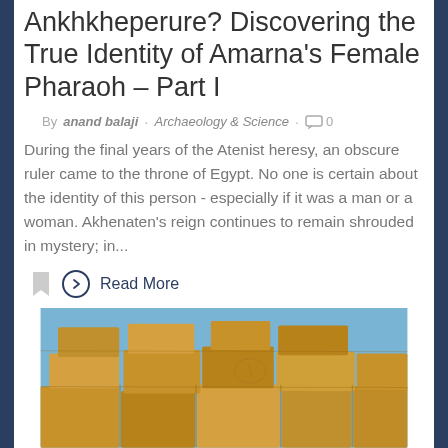Ankhkheperure? Discovering the True Identity of Amarna's Female Pharaoh – Part I
By anand balaji · Archaeology & Science · 0
During the final years of the Atenist heresy, an obscure ruler came to the throne of Egypt. No one is certain about the identity of this person - especially if it was a man or a woman. Akhenaten's reign continues to remain shrouded in mystery; in...
Read More
[Figure (photo): Photograph of ancient Egyptian stone blocks with carved hieroglyphics, in warm golden tones against a blue sky]